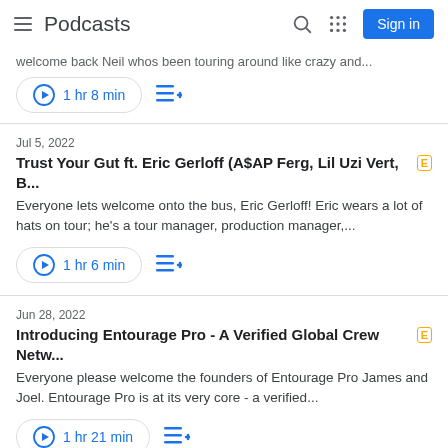Podcasts
welcome back Neil whos been touring around like crazy and...
1 hr 8 min
Jul 5, 2022
Trust Your Gut ft. Eric Gerloff (A$AP Ferg, Lil Uzi Vert, B...
Everyone lets welcome onto the bus, Eric Gerloff! Eric wears a lot of hats on tour; he's a tour manager, production manager,...
1 hr 6 min
Jun 28, 2022
Introducing Entourage Pro - A Verified Global Crew Netw...
Everyone please welcome the founders of Entourage Pro James and Joel. Entourage Pro is at its very core -  a verified...
1 hr 21 min